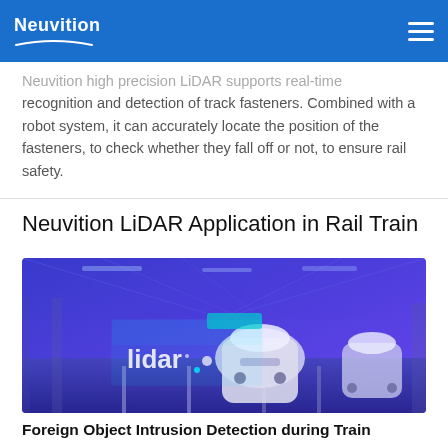Neuvition
Neuvition high-precision LiDAR supports real-time recognition and detection of track fasteners. Combined with a robot system, it can accurately locate the position of the fasteners, to check whether they fall off or not, to ensure rail safety.
Neuvition LiDAR Application in Rail Train
[Figure (photo): A purple-toned rendering of a rail train station with two high-speed trains on tracks, viewed from a frontal perspective inside a large industrial hall. A cyan/teal LiDAR scanning box overlay is visible on the left side near the tracks.]
Foreign Object Intrusion Detection during Train